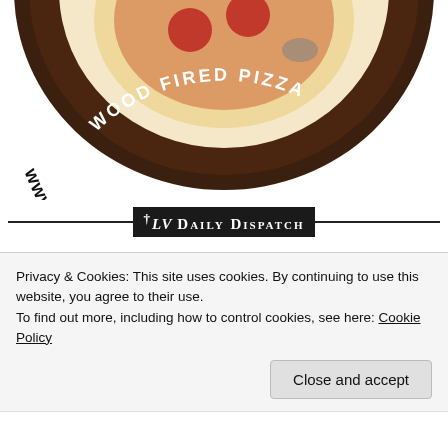[Figure (logo): Ferg-n-Dan's Wood Fired Pizza logo — partial view of circular gear-shaped logo with pizza image in center and text 'WOOD FIRED PIZZA' and 'www.fergndanspizza.com' around the edge]
[Figure (logo): LV Daily Dispatch masthead logo — black rectangle with old English style text reading 'LV Daily Dispatch' with a dagger symbol, flanked by horizontal black lines]
[Figure (logo): Partial black and white diagonal-striped shield/badge logo at bottom left]
Privacy & Cookies: This site uses cookies. By continuing to use this website, you agree to their use.
To find out more, including how to control cookies, see here: Cookie Policy
Close and accept